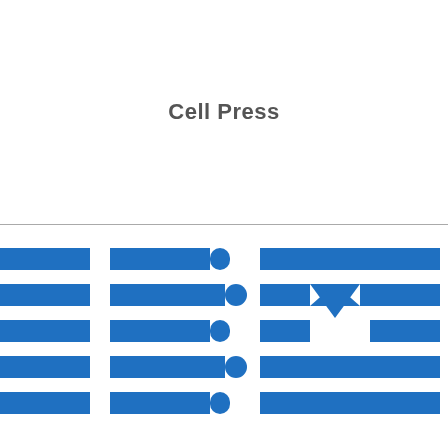Cell Press
[Figure (logo): IBM logo in blue striped style, partially visible at the bottom of the page]